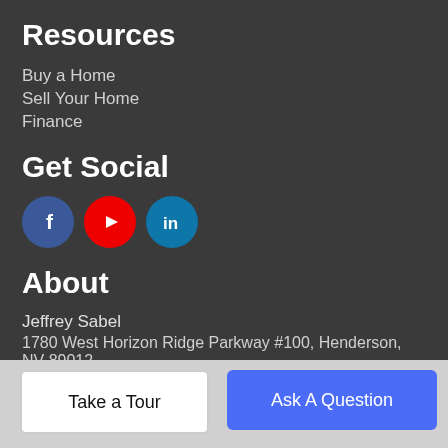Resources
Buy a Home
Sell Your Home
Finance
Get Social
[Figure (illustration): Social media icons: Facebook (blue circle with f), YouTube (red circle with play button), LinkedIn (teal circle with in)]
About
Jeffrey Sabel
1780 West Horizon Ridge Parkway #100, Henderson, NV 89012
702-305-7312
Copyright 2022 of the Greater Las Vegas Association of
Take a Tour
Ask A Question